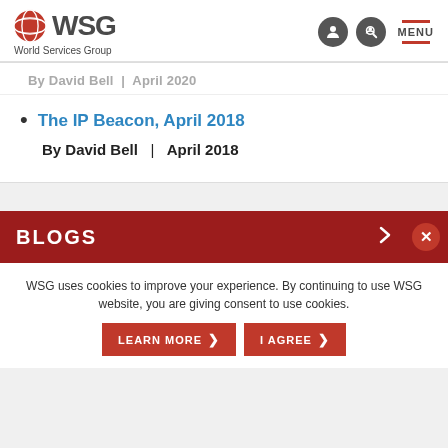WSG World Services Group
By David Bell | April 2020
The IP Beacon, April 2018
By David Bell | April 2018
BLOGS
WSG uses cookies to improve your experience. By continuing to use WSG website, you are giving consent to use cookies.